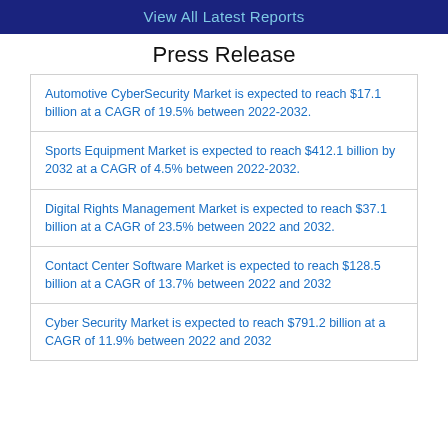View All Latest Reports
Press Release
Automotive CyberSecurity Market is expected to reach $17.1 billion at a CAGR of 19.5% between 2022-2032.
Sports Equipment Market is expected to reach $412.1 billion by 2032 at a CAGR of 4.5% between 2022-2032.
Digital Rights Management Market is expected to reach $37.1 billion at a CAGR of 23.5% between 2022 and 2032.
Contact Center Software Market is expected to reach $128.5 billion at a CAGR of 13.7% between 2022 and 2032
Cyber Security Market is expected to reach $791.2 billion at a CAGR of 11.9% between 2022 and 2032